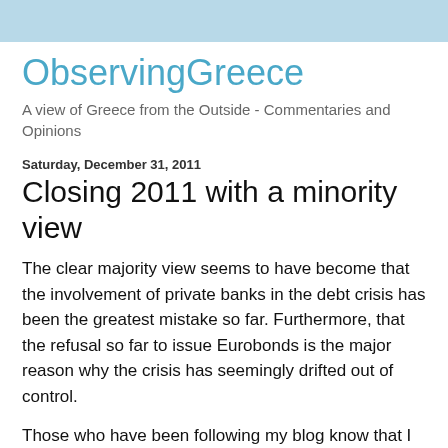ObservingGreece
A view of Greece from the Outside - Commentaries and Opinions
Saturday, December 31, 2011
Closing 2011 with a minority view
The clear majority view seems to have become that the involvement of private banks in the debt crisis has been the greatest mistake so far. Furthermore, that the refusal so far to issue Eurobonds is the major reason why the crisis has seemingly drifted out of control.
Those who have been following my blog know that I take a different view and the approaching year-end is a good point to summarize it. Most of what I say below falls into the category of what "should have been done". I am not sure that what "should have been done" can still be done at this